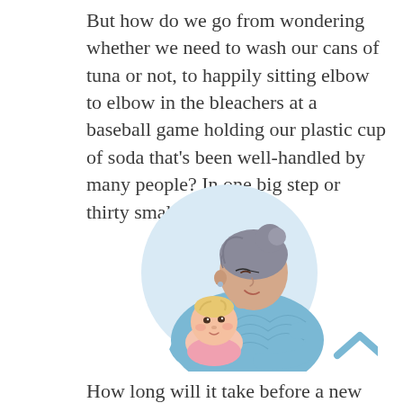But how do we go from wondering whether we need to wash our cans of tuna or not, to happily sitting elbow to elbow in the bleachers at a baseball game holding our plastic cup of soda that's been well-handled by many people? In one big step or thirty small ones?
[Figure (illustration): An illustration of an elderly woman with gray hair in a bun, wearing blue sweater and glasses, lovingly holding and looking down at a baby with blonde hair. The figures are set against a light blue circular background. A light blue chevron/caret up arrow appears in the bottom right corner.]
How long will it take before a new